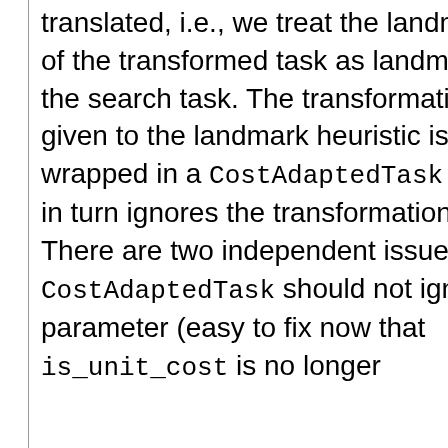translated, i.e., we treat the landmarks of the transformed task as landmarks of the search task. The transformation given to the landmark heuristic is wrapped in a CostAdaptedTask which in turn ignores the transformation. There are two independent issues here: CostAdaptedTask should not ignore its parameter (easy to fix now that is_unit_cost is no longer